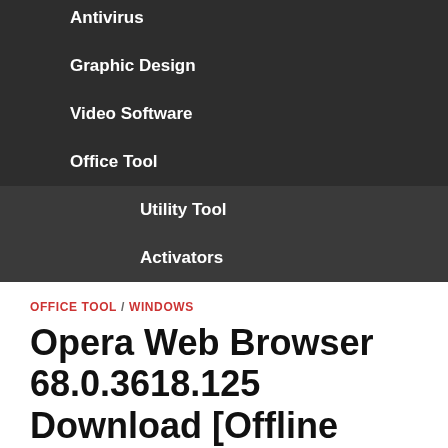Antivirus
Graphic Design
Video Software
Office Tool
Utility Tool
Activators
OFFICE TOOL / WINDOWS
Opera Web Browser 68.0.3618.125 Download [Offline Installer]
May 19, 2020  -  by AbbasPC  -  Leave a Comment